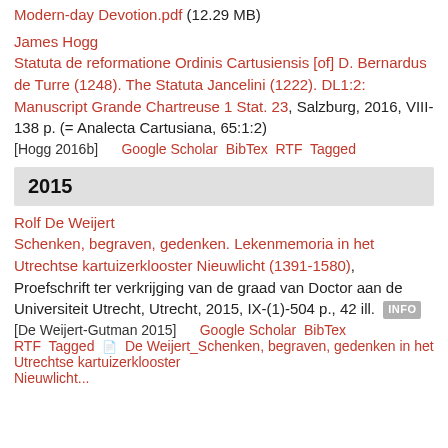Modern-day Devotion.pdf (12.29 MB)
James Hogg
Statuta de reformatione Ordinis Cartusiensis [of] D. Bernardus de Turre (1248). The Statuta Jancelini (1222). DL1:2: Manuscript Grande Chartreuse 1 Stat. 23, Salzburg, 2016, VIII-138 p. (= Analecta Cartusiana, 65:1:2)
[Hogg 2016b]   Google Scholar  BibTex  RTF  Tagged
2015
Rolf De Weijert
Schenken, begraven, gedenken. Lekenmemoria in het Utrechtse kartuizerklooster Nieuwlicht (1391-1580), Proefschrift ter verkrijging van de graad van Doctor aan de Universiteit Utrecht, Utrecht, 2015, IX-(1)-504 p., 42 ill.  INFO
[De Weijert-Gutman 2015]   Google Scholar  BibTex  RTF  Tagged  De Weijert_Schenken, begraven, gedenken in het Utrechtse kartuizerklooster Nieuwlicht...